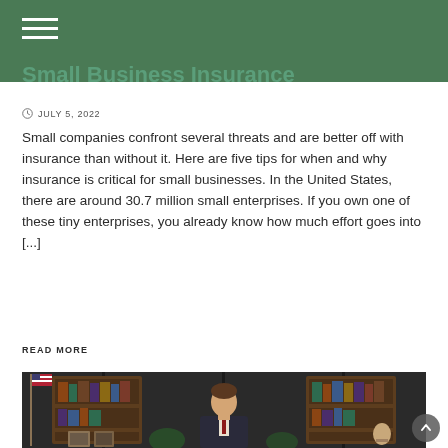Small Business Insurance
JULY 5, 2022
Small companies confront several threats and are better off with insurance than without it. Here are five tips for when and why insurance is critical for small businesses. In the United States, there are around 30.7 million small enterprises. If you own one of these tiny enterprises, you already know how much effort goes into [...]
READ MORE
[Figure (photo): Person seated between two wooden bookshelves with books and framed photos, American flag visible on the left side, dark background, professional setting]